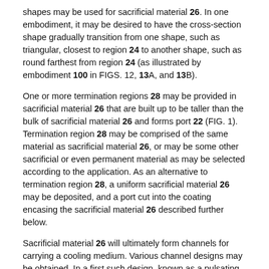shapes may be used for sacrificial material 26. In one embodiment, it may be desired to have the cross-section shape gradually transition from one shape, such as triangular, closest to region 24 to another shape, such as round farthest from region 24 (as illustrated by embodiment 100 in FIGS. 12, 13A, and 13B).
One or more termination regions 28 may be provided in sacrificial material 26 that are built up to be taller than the bulk of sacrificial material 26 and forms port 22 (FIG. 1). Termination region 28 may be comprised of the same material as sacrificial material 26, or may be some other sacrificial or even permanent material as may be selected according to the application. As an alternative to termination region 28, a uniform sacrificial material 26 may be deposited, and a port cut into the coating encasing the sacrificial material 26 described further below.
Sacrificial material 26 will ultimately form channels for carrying a cooling medium. Various channel designs may be obtained. In a first such design, known as a pulsating heat pipe (PHP), a serpentine flow passage is typically required. Thus, in this embodiment, sacrificial material 26